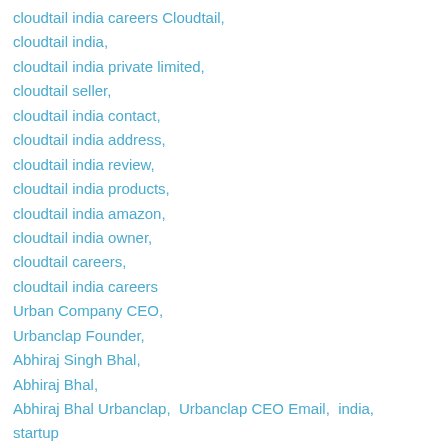cloudtail india careers Cloudtail,
cloudtail india,
cloudtail india private limited,
cloudtail seller,
cloudtail india contact,
cloudtail india address,
cloudtail india review,
cloudtail india products,
cloudtail india amazon,
cloudtail india owner,
cloudtail careers,
cloudtail india careers
Urban Company CEO,
Urbanclap Founder,
Abhiraj Singh Bhal,
Abhiraj Bhal,
Abhiraj Bhal Urbanclap, Urbanclap CEO Email, india, startup
Urban Company CEO,
Urbanclap founder,
CEO Of Urbanclap,
Abhiraj Bhal,
Abhiraj Bhal Urbanclap,